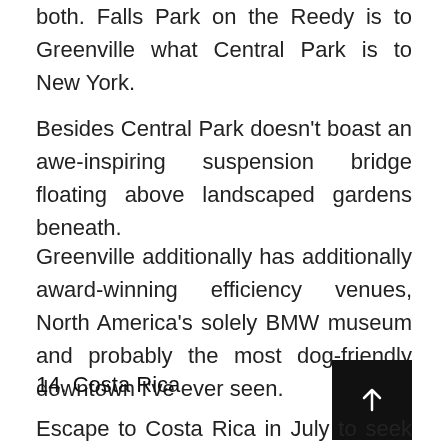both. Falls Park on the Reedy is to Greenville what Central Park is to New York.
Besides Central Park doesn't boast an awe-inspiring suspension bridge floating above landscaped gardens beneath.
Greenville additionally has additionally award-winning efficiency venues, North America's solely BMW museum and probably the most dog-friendly downtown I've ever seen.
14. Costa Rica
Escape to Costa Rica in July to seek out rainforest